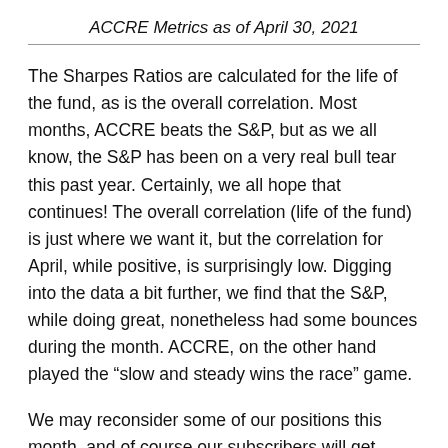ACCRE Metrics as of April 30, 2021
The Sharpes Ratios are calculated for the life of the fund, as is the overall correlation. Most months, ACCRE beats the S&P, but as we all know, the S&P has been on a very real bull tear this past year. Certainly, we all hope that continues! The overall correlation (life of the fund) is just where we want it, but the correlation for April, while positive, is surprisingly low. Digging into the data a bit further, we find that the S&P, while doing great, nonetheless had some bounces during the month. ACCRE, on the other hand played the “slow and steady wins the race” game.
We may reconsider some of our positions this month, and of course our subscribers will get immediate notification of